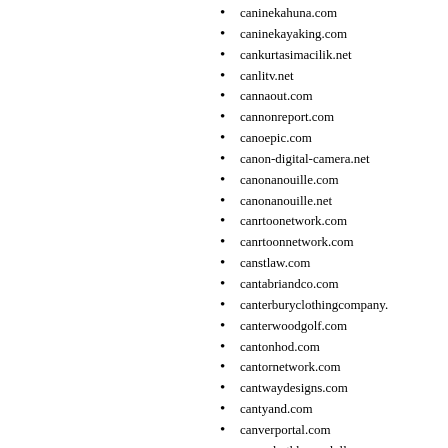caninekahuna.com
caninekayaking.com
cankurtasimacilik.net
canlitv.net
cannaout.com
cannonreport.com
canoepic.com
canon-digital-camera.net
canonanouille.com
canonanouille.net
canrtoonetwork.com
canrtoonnetwork.com
canstlaw.com
cantabriandco.com
canterburyclothingcompany.
canterwoodgolf.com
cantonhod.com
cantornetwork.com
cantwaydesigns.com
cantyand.com
canverportal.com
canwebothhaveadollar.com
canyilmazinter.net
canyondc.com
canyongatecountryhealth.co
canyonlakevacationrentals.c
caopitalmarket.com
cap-lifeinsurance.com